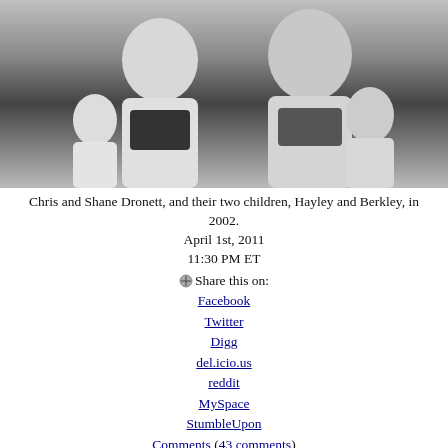[Figure (photo): Black and white photograph of Chris and Shane Dronett with their two children Hayley and Berkley, taken in 2002.]
Chris and Shane Dronett, and their two children, Hayley and Berkley, in 2002.
April 1st, 2011
11:30 PM ET
Share this on:
Facebook
Twitter
Digg
del.icio.us
reddit
MySpace
StumbleUpon
Comments (43 comments)
The day's most popular stories
The five most popular stories on CNN.com in the past 24 hours, according to NewsPulse.